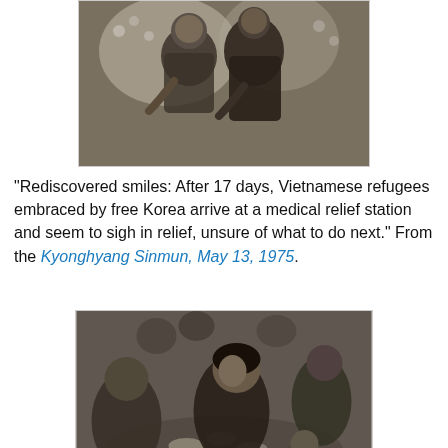[Figure (photo): Black and white photograph of Vietnamese refugees, two people smiling, partial crop showing upper portion]
"Rediscovered smiles: After 17 days, Vietnamese refugees embraced by free Korea arrive at a medical relief station and seem to sigh in relief, unsure of what to do next." From the Kyonghyang Sinmun, May 13, 1975.
[Figure (photo): Black and white photograph of evacuees from Vietnam eating their first meal in the refugee camp in Pusan]
Korea Times Photo
Evacuees from Vietnam take their first meal in the refugee camp in Pusan yesterday a few hours after their [arrival]